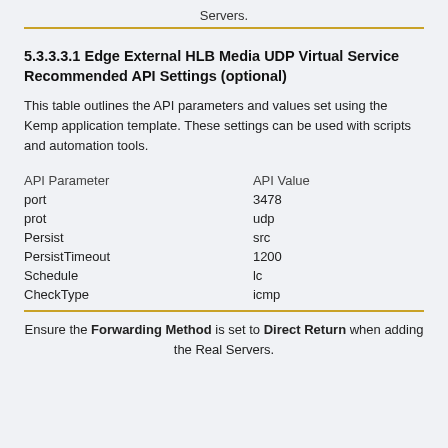Servers.
5.3.3.3.1 Edge External HLB Media UDP Virtual Service Recommended API Settings (optional)
This table outlines the API parameters and values set using the Kemp application template. These settings can be used with scripts and automation tools.
| API Parameter | API Value |
| --- | --- |
| port | 3478 |
| prot | udp |
| Persist | src |
| PersistTimeout | 1200 |
| Schedule | lc |
| CheckType | icmp |
Ensure the Forwarding Method is set to Direct Return when adding the Real Servers.